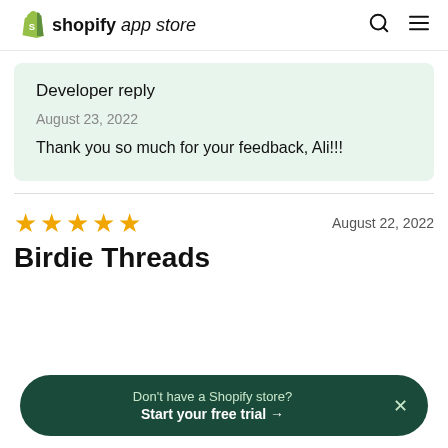shopify app store
Developer reply
August 23, 2022
Thank you so much for your feedback, Ali!!!
★★★★★  August 22, 2022
Birdie Threads
Don't have a Shopify store? Start your free trial →